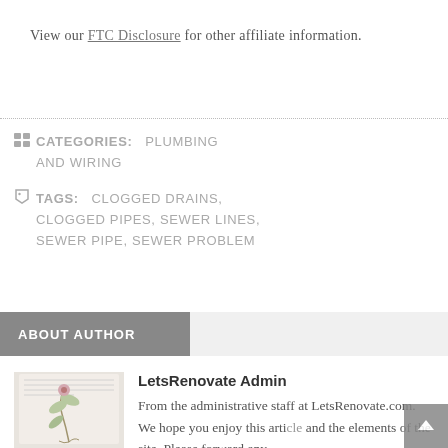View our FTC Disclosure for other affiliate information.
CATEGORIES:   PLUMBING AND WIRING
TAGS:    CLOGGED DRAINS, CLOGGED PIPES, SEWER LINES, SEWER PIPE, SEWER PROBLEM
ABOUT AUTHOR
[Figure (illustration): Author avatar illustration showing a decorative botanical or nature drawing on a light background]
LetsRenovate Admin
From the administrative staff at LetsRenovate.com. We hope you enjoy this article and the elements of the site. Please forward any